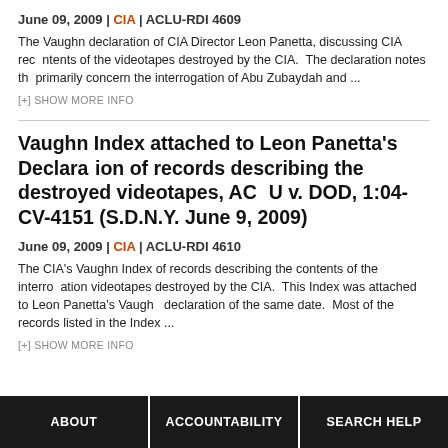June 09, 2009 | CIA | ACLU-RDI 4609
The Vaughn declaration of CIA Director Leon Panetta, discussing CIA records contents of the videotapes destroyed by the CIA. The declaration notes that primarily concern the interrogation of Abu Zubaydah and ...
[+] SHOW MORE INFO
Vaughn Index attached to Leon Panetta's Declaration of records describing the destroyed videotapes, ACLU v. DOD, 1:04-CV-4151 (S.D.N.Y. June 9, 2009)
June 09, 2009 | CIA | ACLU-RDI 4610
The CIA's Vaughn Index of records describing the contents of the interrogation videotapes destroyed by the CIA. This Index was attached to Leon Panetta's Vaughn declaration of the same date. Most of the records listed in the Index ...
[+] SHOW MORE INFO
ABOUT   ACCOUNTABILITY   SEARCH HELP